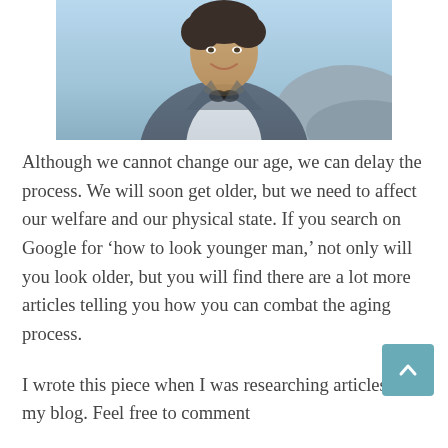[Figure (photo): Photo of a smiling man wearing a denim jacket with sunglasses hanging from collar, outdoors against a light blue sky]
Although we cannot change our age, we can delay the process. We will soon get older, but we need to affect our welfare and our physical state. If you search on Google for ‘how to look younger man,’ not only will you look older, but you will find there are a lot more articles telling you how you can combat the aging process.
I wrote this piece when I was researching articles for my blog. Feel free to comment